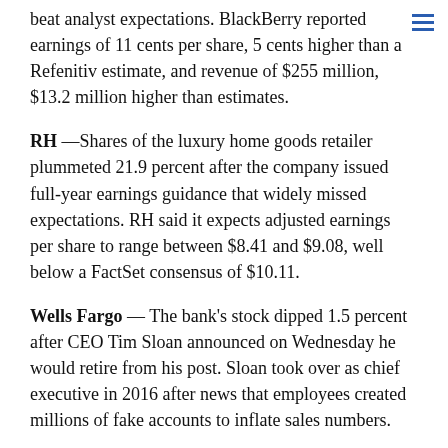beat analyst expectations. BlackBerry reported earnings of 11 cents per share, 5 cents higher than a Refinitiv estimate, and revenue of $255 million, $13.2 million higher than estimates.
RH —Shares of the luxury home goods retailer plummeted 21.9 percent after the company issued full-year earnings guidance that widely missed expectations. RH said it expects adjusted earnings per share to range between $8.41 and $9.08, well below a FactSet consensus of $10.11.
Wells Fargo — The bank's stock dipped 1.5 percent after CEO Tim Sloan announced on Wednesday he would retire from his post. Sloan took over as chief executive in 2016 after news that employees created millions of fake accounts to inflate sales numbers.
Performance Shares of the index...